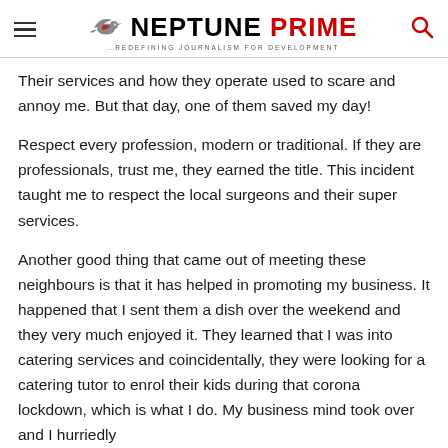NEPTUNE PRIME — REDEFINING JOURNALISM FOR DEVELOPMENT
Their services and how they operate used to scare and annoy me. But that day, one of them saved my day!
Respect every profession, modern or traditional. If they are professionals, trust me, they earned the title. This incident taught me to respect the local surgeons and their super services.
Another good thing that came out of meeting these neighbours is that it has helped in promoting my business. It happened that I sent them a dish over the weekend and they very much enjoyed it. They learned that I was into catering services and coincidentally, they were looking for a catering tutor to enrol their kids during that corona lockdown, which is what I do. My business mind took over and I hurriedly